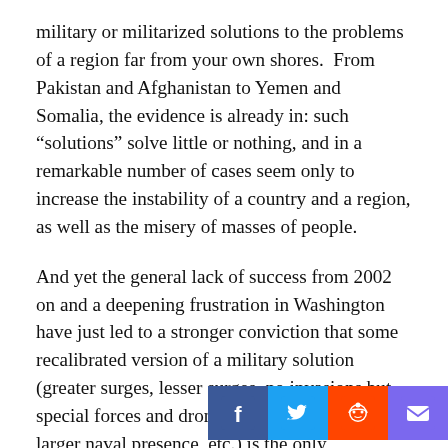military or militarized solutions to the problems of a region far from your own shores.  From Pakistan and Afghanistan to Yemen and Somalia, the evidence is already in: such “solutions” solve little or nothing, and in a remarkable number of cases seem only to increase the instability of a country and a region, as well as the misery of masses of people.
And yet the general lack of success from 2002 on and a deepening frustration in Washington have just led to a stronger conviction that some recalibrated version of a military solution (greater surges, lesser surges, no invasions but special forces and drones, smaller “footprint,” larger naval presence, etc.) is the only reasonable way to go.
In fact, military solutions of every sort have such a deep-seated grip on Washington that the focus there might be termed obsessive.  This has been particularly obvious when it comes to the CIA’s dr w...